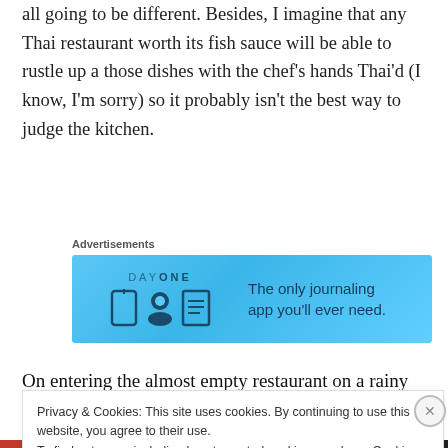all going to be different. Besides, I imagine that any Thai restaurant worth its fish sauce will be able to rustle up a those dishes with the chef’s hands Thai’d (I know, I’m sorry) so it probably isn’t the best way to judge the kitchen.
Advertisements
[Figure (other): Day One journaling app advertisement banner with blue background, icons, and text: 'The only journaling app you’ll ever need.']
On entering the almost empty restaurant on a rainy
Privacy & Cookies: This site uses cookies. By continuing to use this website, you agree to their use.
To find out more, including how to control cookies, see here: Cookie Policy
Close and accept